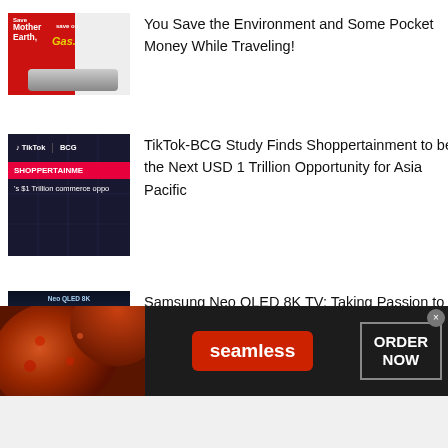[Figure (photo): Toyota hybrid car advertisement with red background. Text reads 'Save Mother Earth, save on Gas.']
You Save the Environment and Some Pocket Money While Traveling!
[Figure (screenshot): TikTok-BCG Shoppertainment banner. Dark background with TikTok and BCG logos, pink/red banner with SHOPPERTAINMENT text, '$1 Trillion commerce oppo...' text below.]
TikTok-BCG Study Finds Shoppertainment to be the Next USD 1 Trillion Opportunity for Asia Pacific
[Figure (photo): Samsung Neo QLED 8K TV display event with group of people standing in front of Samsung booth.]
Samsung Neo QLED 8K TV: Taking Passion to the Next Level
[Figure (photo): Seamless food delivery advertisement banner. Pizza on the left, Seamless red logo button in center, ORDER NOW box on right. Dark background.]